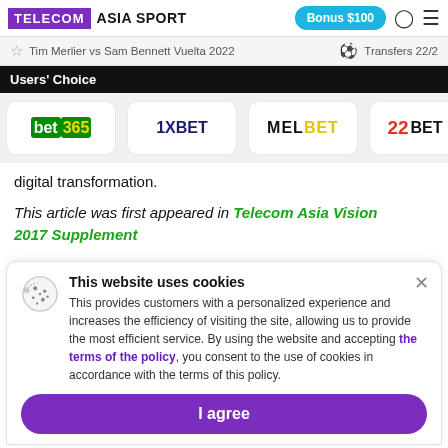TELECOM ASIA SPORT | Bonus $100
Tim Merlier vs Sam Bennett Vuelta 2022 | Transfers 22/2
Users' Choice
[Figure (logo): Bookmaker logos row: bet365, 1XBET, MELBET, 22BET]
digital transformation.
This article was first appeared in Telecom Asia Vision 2017 Supplement
This website uses cookies
This provides customers with a personalized experience and increases the efficiency of visiting the site, allowing us to provide the most efficient service. By using the website and accepting the terms of the policy, you consent to the use of cookies in accordance with the terms of this policy.
I agree